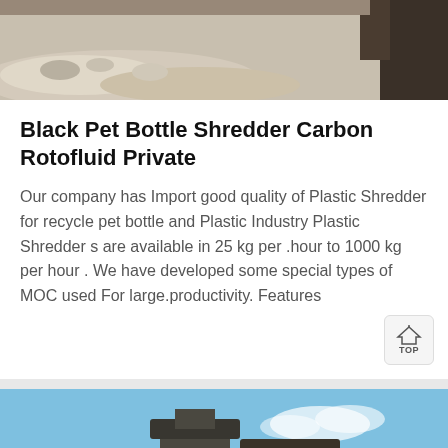[Figure (photo): Top portion of an outdoor photo showing rocks/rubble on ground with a tree trunk partially visible at right edge]
Black Pet Bottle Shredder Carbon Rotofluid Private
Our company has Import good quality of Plastic Shredder for recycle pet bottle and Plastic Industry Plastic Shredder s are available in 25 kg per .hour to 1000 kg per hour . We have developed some special types of MOC used For large.productivity. Features
[Figure (photo): Industrial machinery (shredder/crusher) against a blue sky background with some rubble/construction material visible]
Message
Online Chat